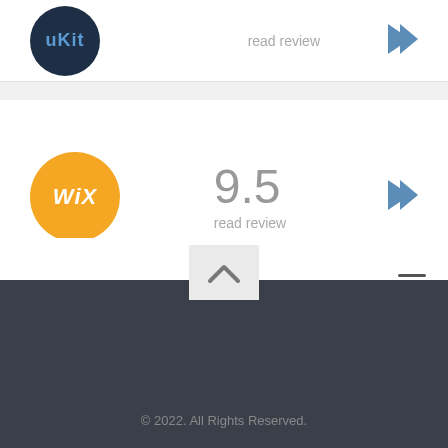[Figure (logo): uKit logo - dark navy circle with 'uKit' text in blue]
read review
[Figure (logo): Wix logo - orange circle with white italic 'WiX' text]
9.5
read review
[Figure (logo): uCoz logo - blue circle with white 'ucoz' text]
9.2
read review
© 2022. All Rights Reserved.